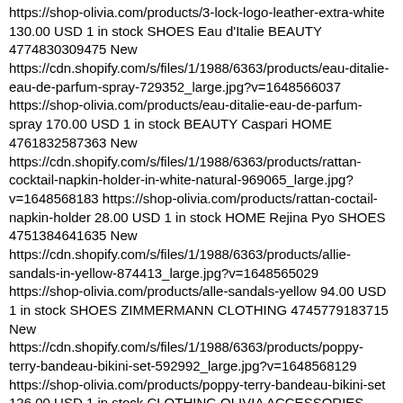https://shop-olivia.com/products/3-lock-logo-leather-extra-white 130.00 USD 1 in stock SHOES Eau d'Italie BEAUTY 4774830309475 New https://cdn.shopify.com/s/files/1/1988/6363/products/eau-ditalie-eau-de-parfum-spray-729352_large.jpg?v=1648566037 https://shop-olivia.com/products/eau-ditalie-eau-de-parfum-spray 170.00 USD 1 in stock BEAUTY Caspari HOME 4761832587363 New https://cdn.shopify.com/s/files/1/1988/6363/products/rattan-cocktail-napkin-holder-in-white-natural-969065_large.jpg?v=1648568183 https://shop-olivia.com/products/rattan-coctail-napkin-holder 28.00 USD 1 in stock HOME Rejina Pyo SHOES 4751384641635 New https://cdn.shopify.com/s/files/1/1988/6363/products/allie-sandals-in-yellow-874413_large.jpg?v=1648565029 https://shop-olivia.com/products/alle-sandals-yellow 94.00 USD 1 in stock SHOES ZIMMERMANN CLOTHING 4745779183715 New https://cdn.shopify.com/s/files/1/1988/6363/products/poppy-terry-bandeau-bikini-set-592992_large.jpg?v=1648568129 https://shop-olivia.com/products/poppy-terry-bandeau-bikini-set 126.00 USD 1 in stock CLOTHING OLIVIA ACCESSORIES 4741853380707 New https://cdn.shopify.com/s/files/1/1988/6363/products/drawstring-solid-color-satin-handle-bag-462143_large.jpg?v=1648565990 https://shop-olivia.com/products/drawstring-solid-color-satin-handle-bag 38.00 USD 1 in stock ACCESSORIES Caspari HOME